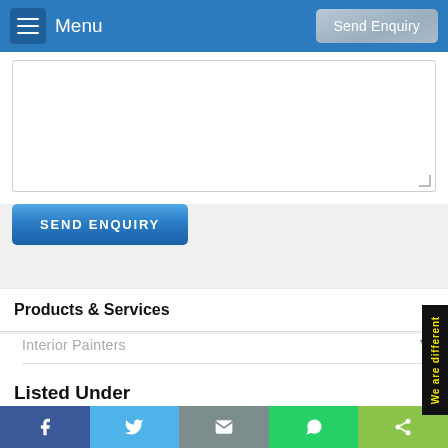Menu | Send Enquiry
[Figure (screenshot): Textarea input box for message]
SEND ENQUIRY
Products & Services
Interior Painters
Listed Under
Interior Residential Painting Contractors
Interior Commercial Painting Contractors
Social share bar: Facebook, Twitter, Email, WhatsApp, Share